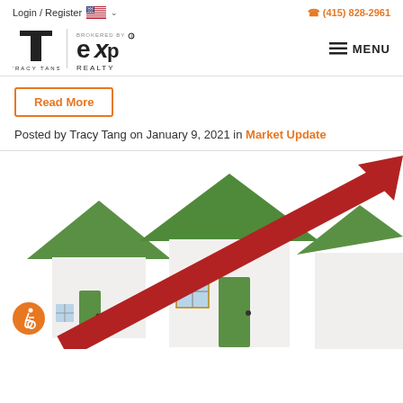Login / Register  (415) 828-2961
[Figure (logo): Tracy Tans and eXp Realty logos side by side with MENU button]
Read More
Posted by Tracy Tang on January 9, 2021 in Market Update
[Figure (illustration): Three cartoon houses with green roofs and a large red upward-trending arrow, representing a rising real estate market]